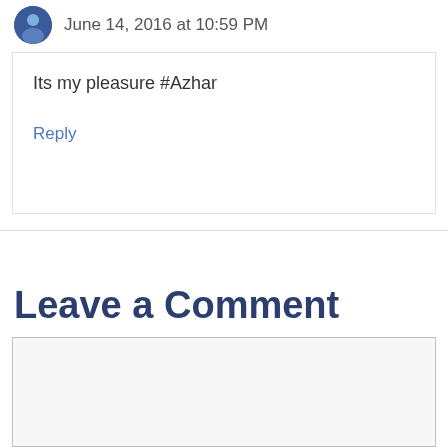June 14, 2016 at 10:59 PM
Its my pleasure #Azhar
Reply
Leave a Comment